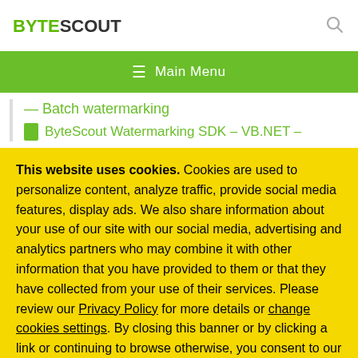BYTESCOUT
≡ Main Menu
Batch watermarking
ByteScout Watermarking SDK – VB.NET –
This website uses cookies. Cookies are used to personalize content, analyze traffic, provide social media features, display ads. We also share information about your use of our site with our social media, advertising and analytics partners who may combine it with other information that you have provided to them or that they have collected from your use of their services. Please review our Privacy Policy for more details or change cookies settings. By closing this banner or by clicking a link or continuing to browse otherwise, you consent to our cookies.
OK